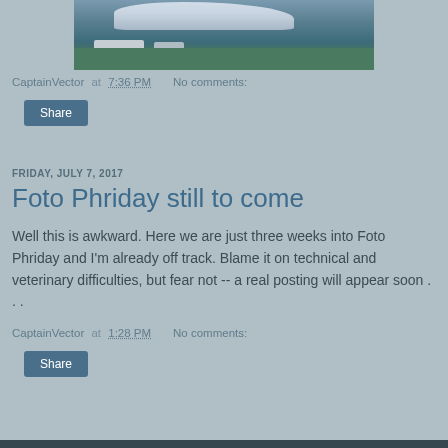[Figure (photo): Aerial or elevated view of an airport tarmac with a commercial aircraft (United/Colgan livery) and ground vehicles on a teal-green surface]
CaptainVector at 7:36 PM   No comments:
Share
FRIDAY, JULY 7, 2017
Foto Phriday still to come
Well this is awkward. Here we are just three weeks into Foto Phriday and I'm already off track. Blame it on technical and veterinary difficulties, but fear not -- a real posting will appear soon . . .
CaptainVector at 1:28 PM   No comments:
Share